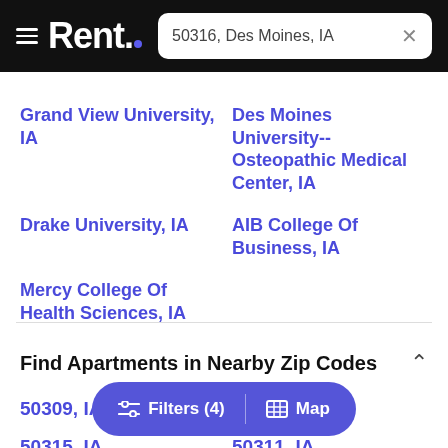Rent. — 50316, Des Moines, IA
Grand View University, IA
Des Moines University--Osteopathic Medical Center, IA
Drake University, IA
AIB College Of Business, IA
Mercy College Of Health Sciences, IA
Find Apartments in Nearby Zip Codes
50309, IA
50310, IA
50315, IA
50311, IA
50317, IA
50314, IA
50327, IA